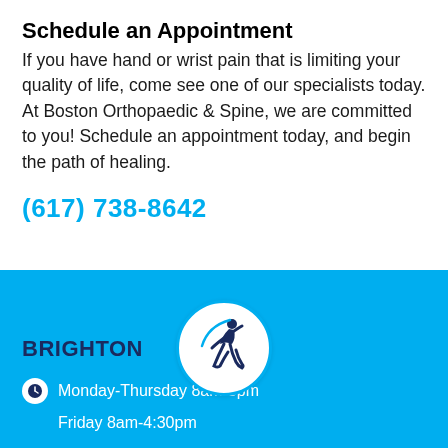Schedule an Appointment
If you have hand or wrist pain that is limiting your quality of life, come see one of our specialists today. At Boston Orthopaedic & Spine, we are committed to you! Schedule an appointment today, and begin the path of healing.
(617) 738-8642
[Figure (logo): Boston Orthopaedic & Spine running figure logo inside a white circle with blue border]
BRIGHTON
Monday-Thursday 8am-5pm
Friday 8am-4:30pm